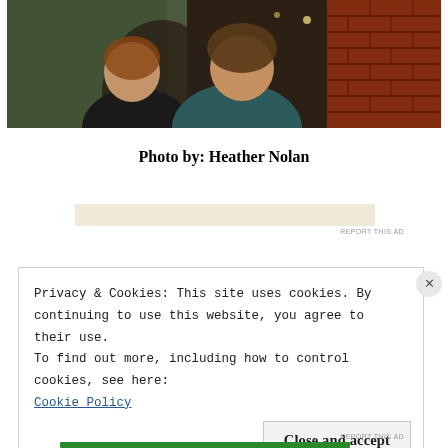[Figure (photo): Two women smiling together in front of a brick wall background with warm lighting]
Photo by: Heather Nolan
Privacy & Cookies: This site uses cookies. By continuing to use this website, you agree to their use.
To find out more, including how to control cookies, see here:
Cookie Policy
Close and accept